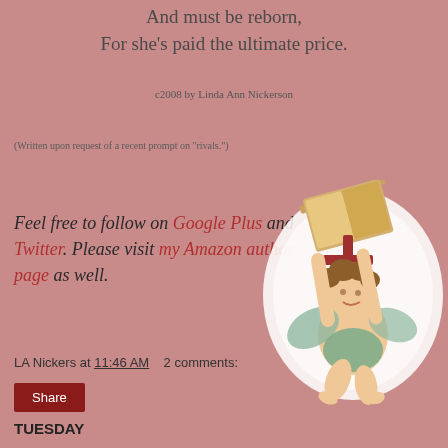And must be reborn,
For she’s paid the ultimate price.
c2008 by Linda Ann Nickerson
(Written upon request of a recent prompt on “rivals.”)
Feel free to follow on Google Plus and Twitter. Please visit my Amazon author page as well.
[Figure (illustration): Vintage illustration of a cherub/angel with wings, holding an open book and a cross, floating against a white glowing background.]
LA Nickers at 11:46 AM   2 comments:
Share
TUESDAY